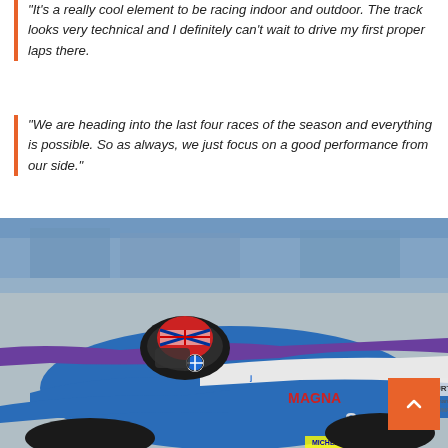"It's a really cool element to be racing indoor and outdoor. The track looks very technical and I definitely can't wait to drive my first proper laps there.
"We are heading into the last four races of the season and everything is possible. So as always, we just focus on a good performance from our side."
[Figure (photo): A Formula E racing car, blue, white and purple livery with BMW branding, FORTINET, harman kardon, MICHELIN, MAGNA sponsors visible. Driver in cockpit wearing red/white helmet with Union Jack design. Photographed from above/side angle outdoors.]